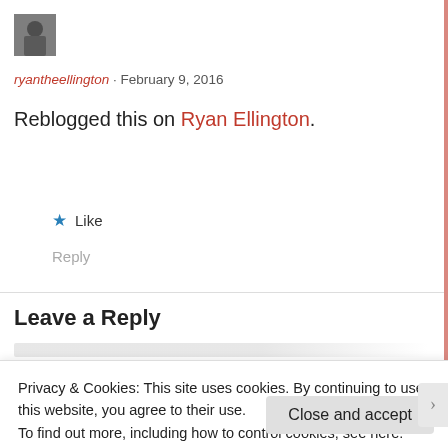[Figure (photo): Small square avatar photo showing a grayscale image of a person]
ryantheellington · February 9, 2016
Reblogged this on Ryan Ellington.
★ Like
Reply
Leave a Reply
Privacy & Cookies: This site uses cookies. By continuing to use this website, you agree to their use.
To find out more, including how to control cookies, see here: Cookie Policy
Close and accept